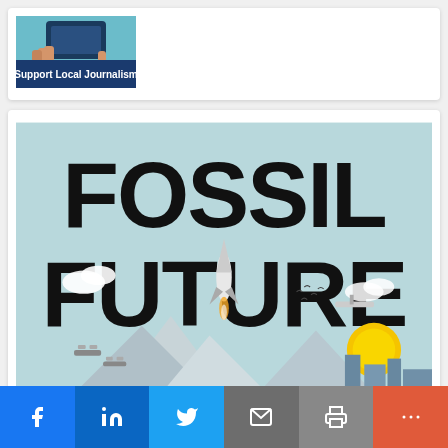[Figure (illustration): Support Local Journalism banner with hand holding phone on teal background]
[Figure (illustration): Fossil Future book cover with large black bold text on light blue background, rocket launching in center, mountains, drones, city skyline, sun]
[Figure (infographic): Social sharing bar with Facebook, LinkedIn, Twitter, Email, Print, and More buttons]